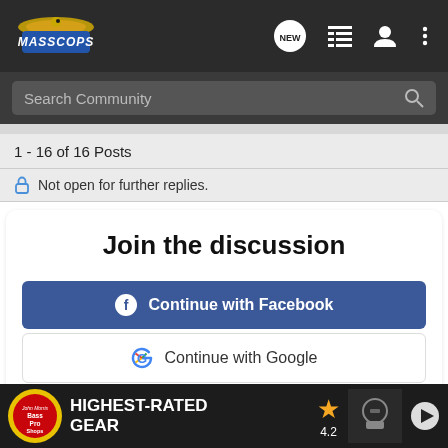[Figure (logo): MassCops forum logo with eagle and stylized text]
Search Community
1 - 16 of 16 Posts
Not open for further replies.
Join the discussion
Continue with Facebook
Continue with Google
or sign up with email
[Figure (infographic): Bass Pro Shops advertisement banner - HIGHEST-RATED GEAR, rating 4.2 stars, with product image and play button]